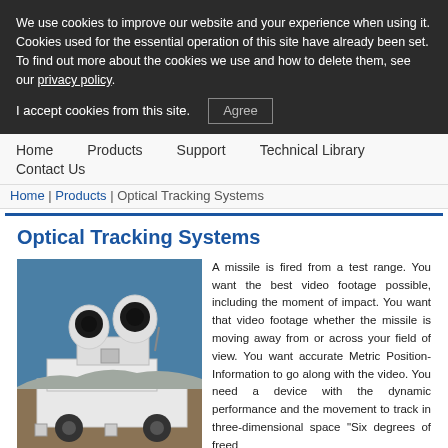We use cookies to improve our website and your experience when using it. Cookies used for the essential operation of this site have already been set. To find out more about the cookies we use and how to delete them, see our privacy policy.
I accept cookies from this site.   Agree
Home | Products | Support | Technical Library | Contact Us
Home | Products | Optical Tracking Systems
Optical Tracking Systems
[Figure (photo): White optical tracking system mounted on a trailer in an open field, with two large telescopic camera lenses visible on top of the unit.]
A missile is fired from a test range. You want the best video footage possible, including the moment of impact. You want that video footage whether the missile is moving away from or across your field of view. You want accurate Metric Position-Information to go along with the video. You need a device with the dynamic performance and the freedom of movement to track in three-dimensional space "Six degrees of freed
Look no further.